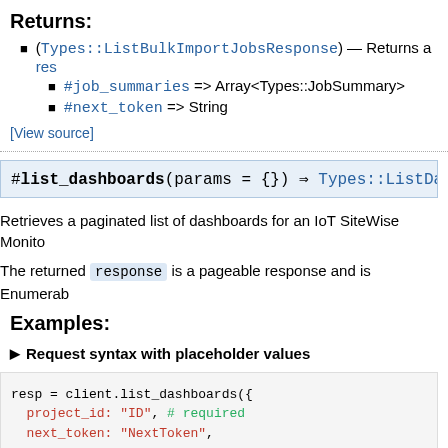Returns:
(Types::ListBulkImportJobsResponse) — Returns a res
#job_summaries => Array<Types::JobSummary>
#next_token => String
[View source]
#list_dashboards(params = {}) ⇒ Types::ListDashboar
Retrieves a paginated list of dashboards for an IoT SiteWise Monitor
The returned response is a pageable response and is Enumerable
Examples:
► Request syntax with placeholder values
resp = client.list_dashboards({
  project_id: "ID", # required
  next_token: "NextToken",